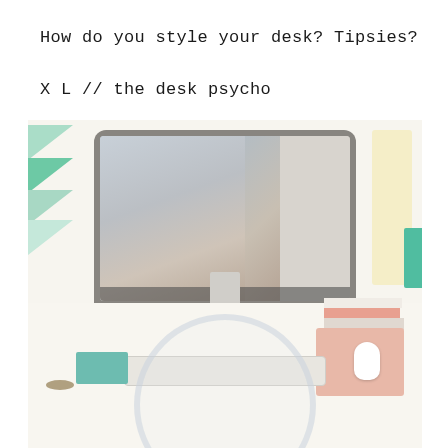How do you style your desk? Tipsies?
X L // the desk psycho
[Figure (photo): A styled white desk setup featuring an Apple iMac computer displaying a fashion photo, keyboard, mouse on a floral pink mousepad, teal notepad, stacked books, and a magnifying glass in the foreground. Green triangular decorations visible on the left wall.]